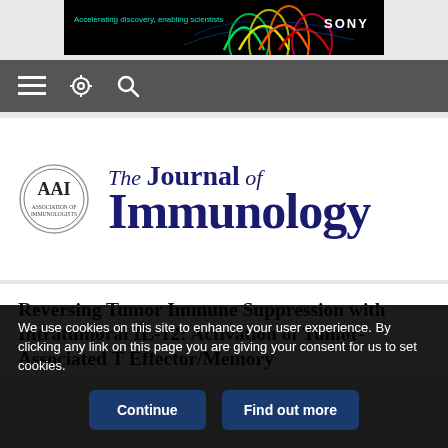[Figure (other): Sony advertisement banner with colorful bell curve graphics and text 'Accelerating discovery, enabling scientists' and SONY logo on black background]
≡ ⚙ 🔍
[Figure (logo): The Journal of Immunology logo with circular AAI seal and serif title text]
Reversing Tumor Immune Suppression with Intratumoral IL-12: Activation of Tumor-Associated T Effector/Memory
We use cookies on this site to enhance your user experience. By clicking any link on this page you are giving your consent for us to set cookies.
Continue | Find out more